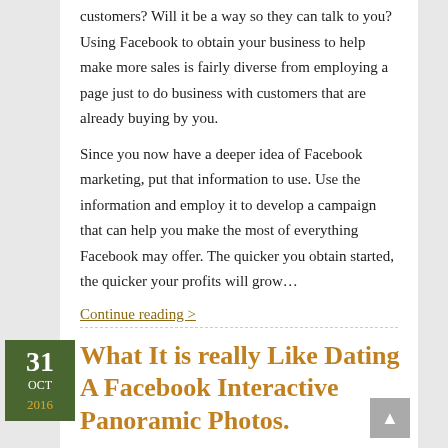customers? Will it be a way so they can talk to you? Using Facebook to obtain your business to help make more sales is fairly diverse from employing a page just to do business with customers that are already buying by you.
Since you now have a deeper idea of Facebook marketing, put that information to use. Use the information and employ it to develop a campaign that can help you make the most of everything Facebook may offer. The quicker you obtain started, the quicker your profits will grow…
Continue reading >
What It is really Like Dating A Facebook Interactive Panoramic Photos.
Author: Brenda Martinez | Category: Default | Tags: